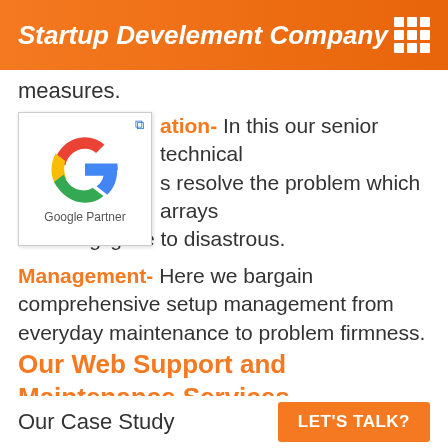Startup Develement Company
measures.
[Figure (logo): Google Partner badge with Google 'G' logo and text 'Google Partner']
ation- In this our senior technical s resolve the problem which arrays from negligible to disastrous.
Management- Here we bargain comprehensive setup management from everyday maintenance to problem firmness.
Our Web Support and Maintenance Services
Our Case Study
LET'S TALK?